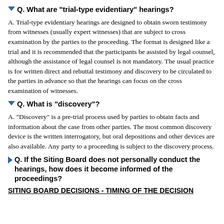Q. What are "trial-type evidentiary" hearings?
A. Trial-type evidentiary hearings are designed to obtain sworn testimony from witnesses (usually expert witnesses) that are subject to cross examination by the parties to the proceeding. The format is designed like a trial and it is recommended that the participants be assisted by legal counsel, although the assistance of legal counsel is not mandatory. The usual practice is for written direct and rebuttal testimony and discovery to be circulated to the parties in advance so that the hearings can focus on the cross examination of witnesses.
Q. What is "discovery"?
A. "Discovery" is a pre-trial process used by parties to obtain facts and information about the case from other parties. The most common discovery device is the written interrogatory, but oral depositions and other devices are also available. Any party to a proceeding is subject to the discovery process.
Q. If the Siting Board does not personally conduct the hearings, how does it become informed of the proceedings?
SITING BOARD DECISIONS - TIMING OF THE DECISION